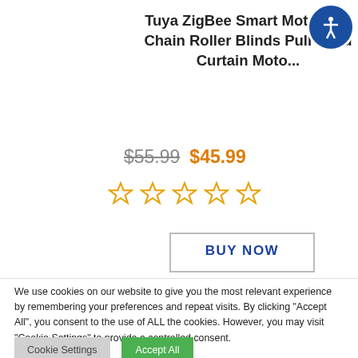English
Tuya ZigBee Smart Motorized Chain Roller Blinds Pull Bead Curtain Moto...
$55.99  $45.99
[Figure (other): Five empty star rating icons in orange/yellow outline]
BUY NOW
[Figure (other): Social sharing icons: email (green), Facebook (blue), LinkedIn (dark blue), Pinterest (red), Reddit (orange-red), Tumblr (dark blue), Twitter (light blue)]
We use cookies on our website to give you the most relevant experience by remembering your preferences and repeat visits. By clicking "Accept All", you consent to the use of ALL the cookies. However, you may visit "Cookie Settings" to provide a controlled consent.
Cookie Settings  Accept All